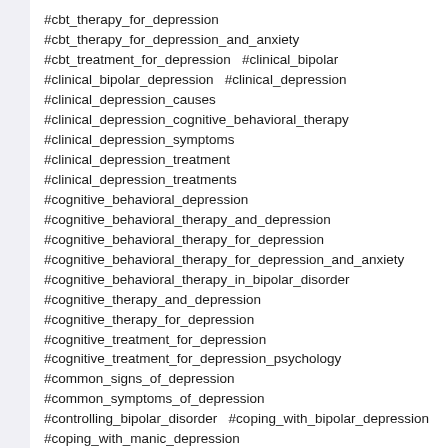#cbt_therapy_for_depression
#cbt_therapy_for_depression_and_anxiety
#cbt_treatment_for_depression   #clinical_bipolar
#clinical_bipolar_depression   #clinical_depression
#clinical_depression_causes
#clinical_depression_cognitive_behavioral_therapy
#clinical_depression_symptoms
#clinical_depression_treatment
#clinical_depression_treatments
#cognitive_behavioral_depression
#cognitive_behavioral_therapy_and_depression
#cognitive_behavioral_therapy_for_depression
#cognitive_behavioral_therapy_for_depression_and_anxiety
#cognitive_behavioral_therapy_in_bipolar_disorder
#cognitive_therapy_and_depression
#cognitive_therapy_for_depression
#cognitive_treatment_for_depression
#cognitive_treatment_for_depression_psychology
#common_signs_of_depression
#common_symptoms_of_depression
#controlling_bipolar_disorder   #coping_with_bipolar_depression
#coping_with_manic_depression